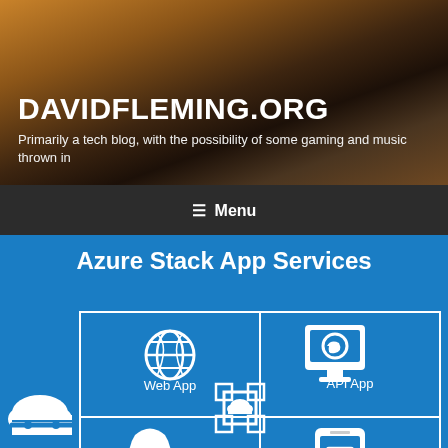DAVIDFLEMING.ORG
Primarily a tech blog, with the possibility of some gaming and music thrown in
≡ Menu
Azure Stack App Services
[Figure (infographic): Azure Stack App Services diagram showing a cloud icon on the left connected to a 2x2 grid of app service types: Web App (top-left, globe icon), API App (top-right, monitor/API icon), Logic App (bottom-left, rocket icon), Mobile App (bottom-right, phone icon), with a central cloud-in-square icon at the intersection.]